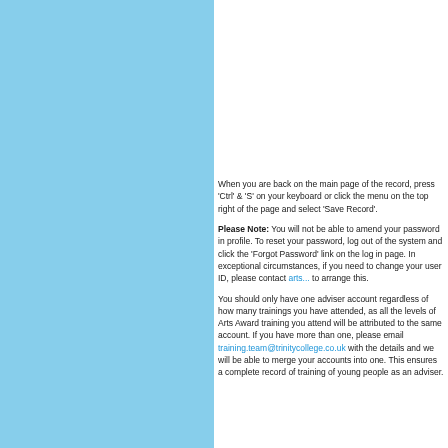[Figure (screenshot): Partial screenshot of an admin interface showing a grey panel with a white inner box, a scroll bar and navigation dots]
When you are back on the main page of the record, press 'Ctrl' & 'S' on your keyboard or click the menu on the top right of the page and select 'Save Record'.
Please Note: You will not be able to amend your password in profile. To reset your password, log out of the system and click the 'Forgot Password' link on the log in page. In exceptional circumstances, if you need to change your user ID, please contact artsa... to arrange this.
You should only have one adviser account regardless of how many trainings you have attended, as all the levels of Arts Award training you attend will be attributed to the same account. If you have more than one, please email training.team@trinitycollege.co.uk with the details and we will be able to merge your accounts into one. This ensures a complete record of training of young people as an adviser.